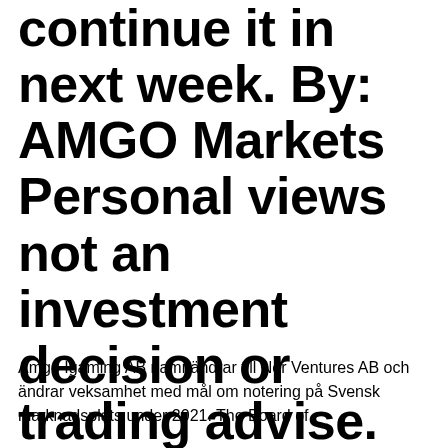continue it in next week. By: AMGO Markets Personal views not an investment decision or trading advise.
Amgo Igaming AB namnändrar till Nor Ventures AB och ändrar veksamhet med mål om notering på Svensk marknadsplats under 2021. The Board of